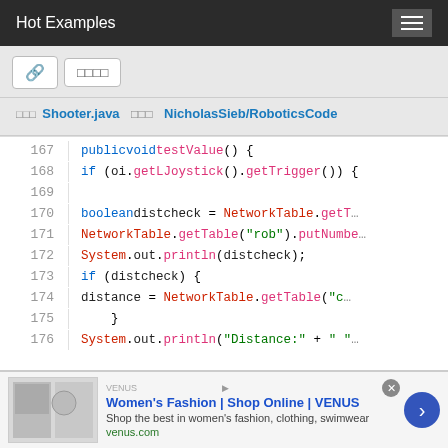Hot Examples
🔗  □□□□
□□□ Shooter.java   □□□ NicholasSieb/RoboticsCode
167  public void testValue() {
168    if (oi.getLJoystick().getTrigger()) {
169
170      boolean distcheck = NetworkTable.getT…
171      NetworkTable.getTable("rob").putNumbe…
172      System.out.println(distcheck);
173      if (distcheck) {
174        distance = NetworkTable.getTable("c…
175      }
176      System.out.println("Distance:" + " "…
Women's Fashion | Shop Online | VENUS
Shop the best in women's fashion, clothing, swimwear
venus.com